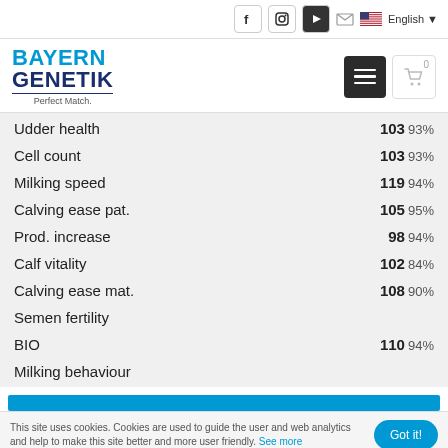Bayern Genetik - Perfect Match. | Navigation bar with social icons, email, language selector, menu and cart
[Figure (logo): Bayern Genetik logo with blue BAYERN text, dark blue GENETIK text, and Perfect Match tagline]
| Trait | Value | Reliability |
| --- | --- | --- |
| Udder health | 103 | 93% |
| Cell count | 103 | 93% |
| Milking speed | 119 | 94% |
| Calving ease pat. | 105 | 95% |
| Prod. increase | 98 | 94% |
| Calf vitality | 102 | 84% |
| Calving ease mat. | 108 | 90% |
| Semen fertility |  |  |
| BIO | 110 | 94% |
| Milking behaviour |  |  |
This site uses cookies. Cookies are used to guide the user and web analytics and help to make this site better and more user friendly. See more